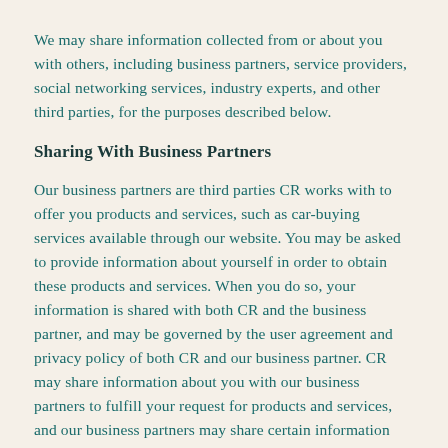We may share information collected from or about you with others, including business partners, service providers, social networking services, industry experts, and other third parties, for the purposes described below.
Sharing With Business Partners
Our business partners are third parties CR works with to offer you products and services, such as car-buying services available through our website. You may be asked to provide information about yourself in order to obtain these products and services. When you do so, your information is shared with both CR and the business partner, and may be governed by the user agreement and privacy policy of both CR and our business partner. CR may share information about you with our business partners to fulfill your request for products and services, and our business partners may share certain information about you with us that you provide to them when you use its products and services.